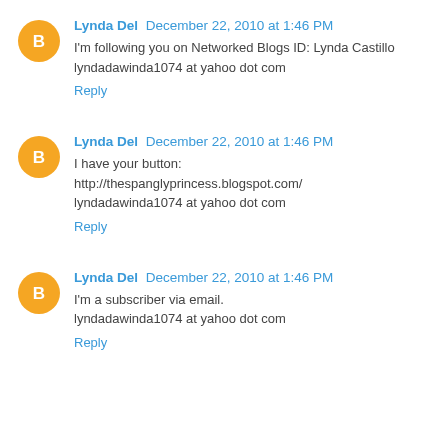Lynda Del  December 22, 2010 at 1:46 PM
I'm following you on Networked Blogs ID: Lynda Castillo
lyndadawinda1074 at yahoo dot com
Reply
Lynda Del  December 22, 2010 at 1:46 PM
I have your button:
http://thespanglyprincess.blogspot.com/
lyndadawinda1074 at yahoo dot com
Reply
Lynda Del  December 22, 2010 at 1:46 PM
I'm a subscriber via email.
lyndadawinda1074 at yahoo dot com
Reply